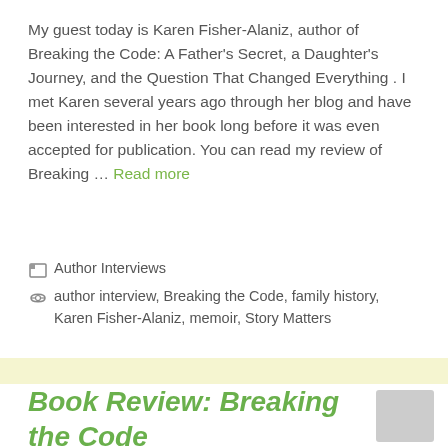My guest today is Karen Fisher-Alaniz, author of Breaking the Code: A Father's Secret, a Daughter's Journey, and the Question That Changed Everything . I met Karen several years ago through her blog and have been interested in her book long before it was even accepted for publication. You can read my review of Breaking … Read more
Author Interviews
author interview, Breaking the Code, family history, Karen Fisher-Alaniz, memoir, Story Matters
Book Review: Breaking the Code